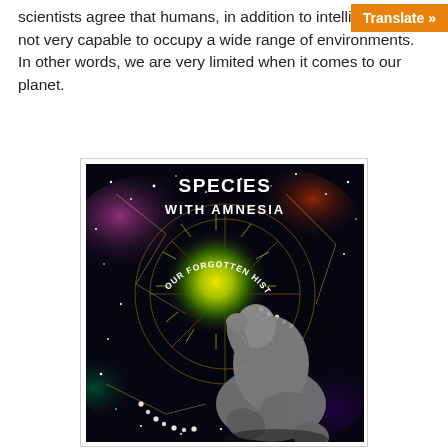scientists agree that humans, in addition to intelligence, are not very capable to occupy a wide range of environments. In other words, we are very limited when it comes to our planet.
[Figure (photo): Book cover of 'Species with Amnesia: Our Forgotten History' featuring a glowing halo, cosmic starmap background with colorful nebulae and constellations, and Rodin's The Thinker statue in the foreground.]